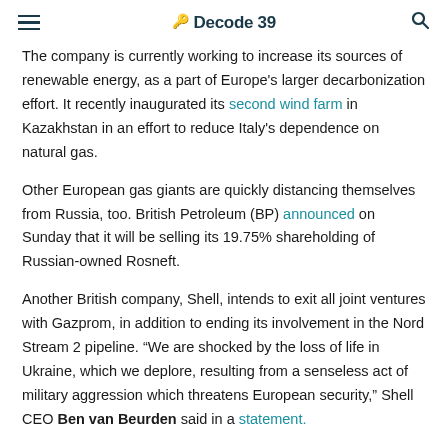Decode 39
The company is currently working to increase its sources of renewable energy, as a part of Europe's larger decarbonization effort. It recently inaugurated its second wind farm in Kazakhstan in an effort to reduce Italy's dependence on natural gas.
Other European gas giants are quickly distancing themselves from Russia, too. British Petroleum (BP) announced on Sunday that it will be selling its 19.75% shareholding of Russian-owned Rosneft.
Another British company, Shell, intends to exit all joint ventures with Gazprom, in addition to ending its involvement in the Nord Stream 2 pipeline. "We are shocked by the loss of life in Ukraine, which we deplore, resulting from a senseless act of military aggression which threatens European security," Shell CEO Ben van Beurden said in a statement.